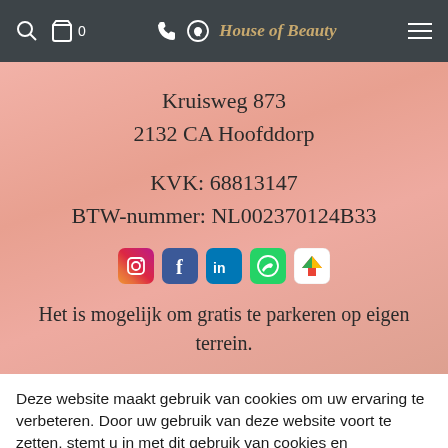House of Beauty
Kruisweg 873
2132 CA Hoofddorp
KVK: 68813147
BTW-nummer: NL002370124B33
[Figure (other): Social media icons: Instagram, Facebook, LinkedIn, WhatsApp, Google Maps]
Het is mogelijk om gratis te parkeren op eigen terrein.
Deze website maakt gebruik van cookies om uw ervaring te verbeteren. Door uw gebruik van deze website voort te zetten, stemt u in met dit gebruik van cookies en vergelijkbare technologieën.
Accepteren
Lees meer